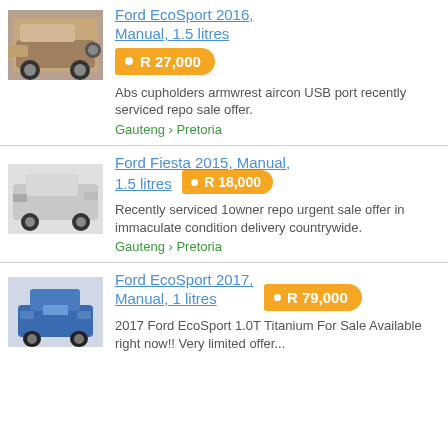[Figure (photo): Photo of a bronze/brown Ford EcoSport SUV seen from rear-side angle]
Ford EcoSport 2016, Manual, 1.5 litres
R 27,000
Abs cupholders armwrest aircon USB port recently serviced repo sale offer.
Gauteng › Pretoria
[Figure (photo): Photo of a silver Ford Fiesta hatchback seen from side angle]
Ford Fiesta 2015, Manual, 1.5 litres
R 18,000
Recently serviced 1owner repo urgent sale offer in immaculate condition delivery countrywide.
Gauteng › Pretoria
[Figure (photo): Photo of a blue Ford EcoSport SUV seen from front angle]
Ford EcoSport 2017, Manual, 1 litres
R 79,000
2017 Ford EcoSport 1.0T Titanium For Sale Available right now!! Very limited offer...